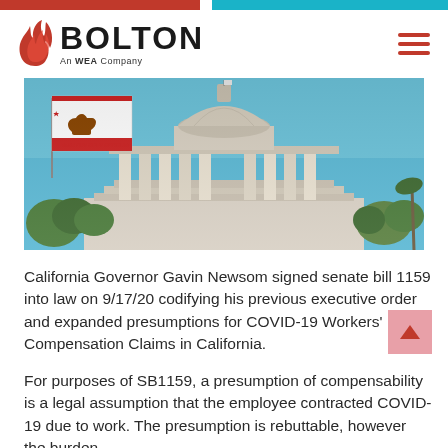[Figure (logo): Bolton logo with red flame icon and text 'BOLTON An WEA Company']
[Figure (photo): California state capitol building with California Republic flag in foreground against a blue sky]
California Governor Gavin Newsom signed senate bill 1159 into law on 9/17/20 codifying his previous executive order and expanded presumptions for COVID-19 Workers' Compensation Claims in California.
For purposes of SB1159, a presumption of compensability is a legal assumption that the employee contracted COVID-19 due to work. The presumption is rebuttable, however the burden